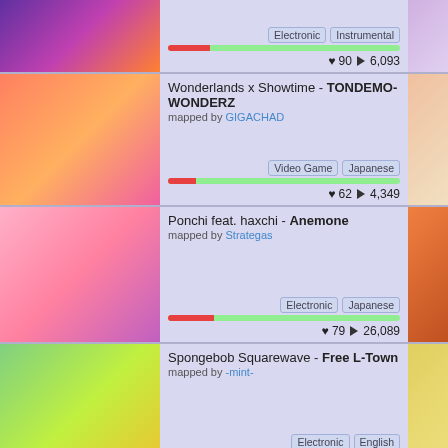Electronic | Instrumental | ♥ 90 ▶ 6,093
Wonderlands x Showtime - TONDEMO-WONDERZ | mapped by GIGACHAD | Video Game | Japanese | ♥ 62 ▶ 4,349
Ponchi feat. haxchi - Anemone | mapped by Strategas | Electronic | Japanese | ♥ 79 ▶ 26,089
Spongebob Squarewave - Free L-Town | mapped by -mint- | Electronic | English | ♥ 73 ▶ 5,271
Orange Lounge - MOBO * MOGA | mapped by Xnery | Video Game | French | ♥ 36 ▶ 5,283
yuki - Bulukanilo | mapped by pnky | Pop | Japanese | ♥ 76 ▶ 18,267
Camellia - Looking for Edge of Ground | mapped by Orange_ | Electronic | Japanese | ♥ 65 ▶ 5,059
LeaF - Calamity Fortune (extended ver.)